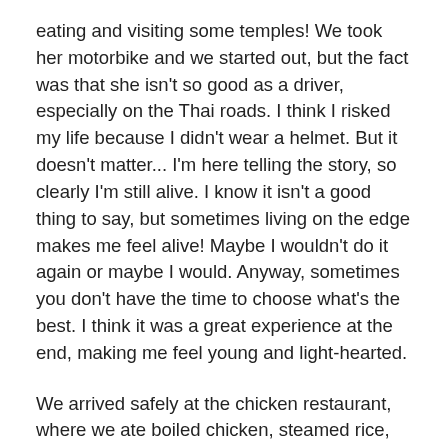eating and visiting some temples! We took her motorbike and we started out, but the fact was that she isn't so good as a driver, especially on the Thai roads. I think I risked my life because I didn't wear a helmet. But it doesn't matter... I'm here telling the story, so clearly I'm still alive. I know it isn't a good thing to say, but sometimes living on the edge makes me feel alive! Maybe I wouldn't do it again or maybe I would. Anyway, sometimes you don't have the time to choose what's the best. I think it was a great experience at the end, making me feel young and light-hearted.
We arrived safely at the chicken restaurant, where we ate boiled chicken, steamed rice, and vegetable soup. It's one of the most famous chicken restaurants in the city, so it's extremely busy and noisy. The waiters don't write down the orders – instead they scream out loud to the small kitchen on the sidewalk. When we finished our lunch and took some pictures